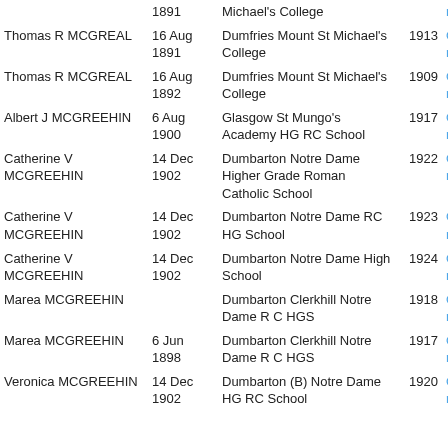| Name | Date | School | Year | Order |
| --- | --- | --- | --- | --- |
|  | 1891 | Michael's College |  | Order now |
| Thomas R MCGREAL | 16 Aug 1891 | Dumfries Mount St Michael's College | 1913 | Order now |
| Thomas R MCGREAL | 16 Aug 1892 | Dumfries Mount St Michael's College | 1909 | Order now |
| Albert J MCGREEHIN | 6 Aug 1900 | Glasgow St Mungo's Academy HG RC School | 1917 | Order now |
| Catherine V MCGREEHIN | 14 Dec 1902 | Dumbarton Notre Dame Higher Grade Roman Catholic School | 1922 | Order now |
| Catherine V MCGREEHIN | 14 Dec 1902 | Dumbarton Notre Dame RC HG School | 1923 | Order now |
| Catherine V MCGREEHIN | 14 Dec 1902 | Dumbarton Notre Dame High School | 1924 | Order now |
| Marea MCGREEHIN |  | Dumbarton Clerkhill Notre Dame R C HGS | 1918 | Order now |
| Marea MCGREEHIN | 6 Jun 1898 | Dumbarton Clerkhill Notre Dame R C HGS | 1917 | Order now |
| Veronica MCGREEHIN | 14 Dec 1902 | Dumbarton (B) Notre Dame HG RC School | 1920 | Order now |